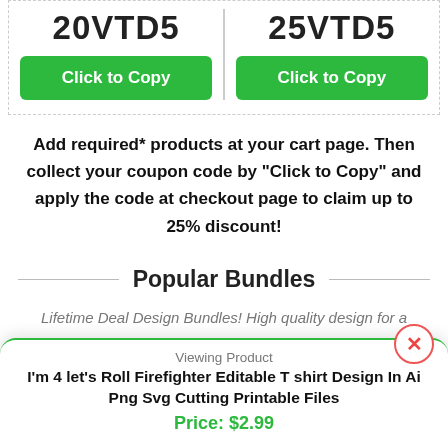[Figure (screenshot): Two coupon code boxes side by side with green 'Click to Copy' buttons, partially visible coupon codes at top (20VTD5 and 25VTD5)]
Add required* products at your cart page. Then collect your coupon code by "Click to Copy" and apply the code at checkout page to claim up to 25% discount!
Popular Bundles
Lifetime Deal Design Bundles! High quality design for a
Viewing Product
I'm 4 let's Roll Firefighter Editable T shirt Design In Ai Png Svg Cutting Printable Files
Price: $2.99